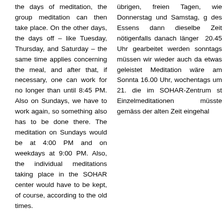the days of meditation, the group meditation can then take place. On the other days, the days off – like Tuesday, Thursday, and Saturday – the same time applies concerning the meal, and after that, if necessary, one can work for no longer than until 8:45 PM. Also on Sundays, we have to work again, so something also has to be done there. The meditation on Sundays would be at 4:00 PM and on weekdays at 9:00 PM. Also, the individual meditations taking place in the SOHAR center would have to be kept, of course, according to the old times.
übrigen, freien Tagen, wie Donnerstag und Samstag, g des Essens dann dieselbe Zeit nötigenfalls danach länger 20.45 Uhr gearbeitet werden sonntags müssen wir wieder auch da etwas geleistet Meditation wäre am Sonnta 16.00 Uhr, wochentags um 21. die im SOHAR-Zentrum st Einzelmeditationen müsste gemäss der alten Zeit eingehal